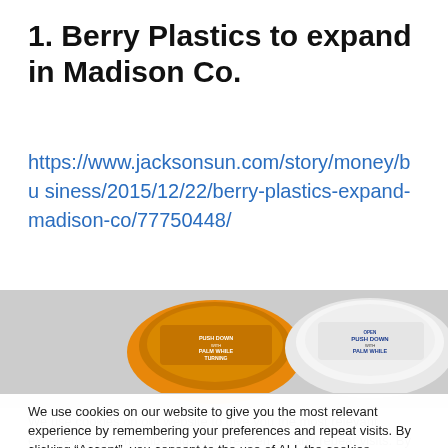1. Berry Plastics to expand in Madison Co.
https://www.jacksonsun.com/story/money/business/2015/12/22/berry-plastics-expand-madison-co/77750448/
[Figure (photo): Two prescription bottle caps — one orange and one white — with 'PUSH DOWN WITH PALM WHILE TURNING' text, photographed from above.]
We use cookies on our website to give you the most relevant experience by remembering your preferences and repeat visits. By clicking “Accept”, you consent to the use of ALL the cookies.
Do not sell my personal information.
Cookie settings   ACCEPT